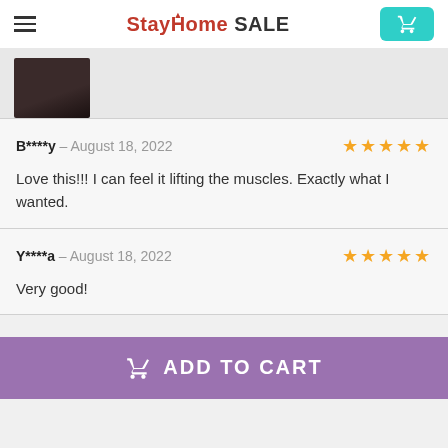StayHome SALE
[Figure (photo): Partial thumbnail of a dark-colored product photo, cropped at top]
B****y – August 18, 2022 ★★★★★
Love this!!! I can feel it lifting the muscles. Exactly what I wanted.
Y****a – August 18, 2022 ★★★★★
Very good!
ADD TO CART